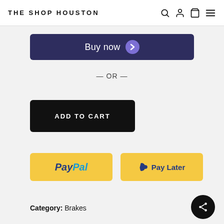THE SHOP HOUSTON
[Figure (other): Buy now button with purple chevron arrow icon on dark navy background]
— OR —
[Figure (other): Add To Cart button with black background and white text]
[Figure (other): PayPal and Pay Later payment buttons on yellow/gold background]
Category: Brakes